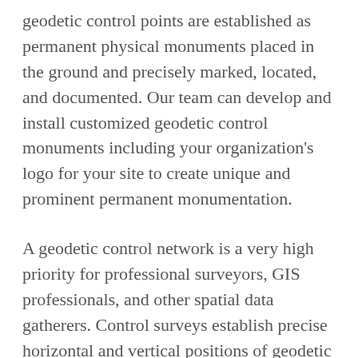geodetic control points are established as permanent physical monuments placed in the ground and precisely marked, located, and documented. Our team can develop and install customized geodetic control monuments including your organization's logo for your site to create unique and prominent permanent monumentation.
A geodetic control network is a very high priority for professional surveyors, GIS professionals, and other spatial data gatherers. Control surveys establish precise horizontal and vertical positions of geodetic monuments. These serve as the basis for originating or checking subordinate surveys